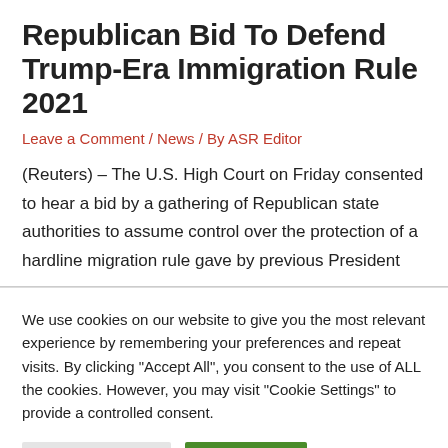Republican Bid To Defend Trump-Era Immigration Rule 2021
Leave a Comment / News / By ASR Editor
(Reuters) – The U.S. High Court on Friday consented to hear a bid by a gathering of Republican state authorities to assume control over the protection of a hardline migration rule gave by previous President
We use cookies on our website to give you the most relevant experience by remembering your preferences and repeat visits. By clicking "Accept All", you consent to the use of ALL the cookies. However, you may visit "Cookie Settings" to provide a controlled consent.